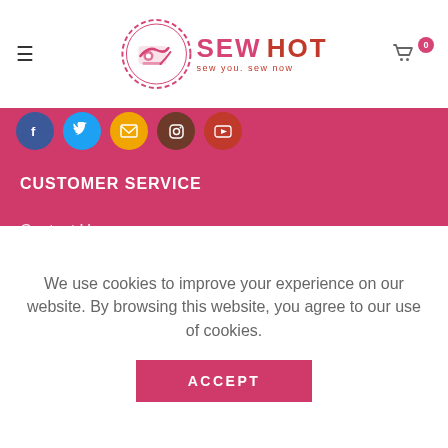SEW HOT - sew you. sew now
[Figure (logo): Sew Hot logo with sewing machine icon in a decorative circle, text SEW HOT sew you. sew now]
[Figure (infographic): Social media icon buttons: Facebook (blue), Twitter (light blue), Email (yellow/orange), Instagram (dark brown), YouTube (red)]
CUSTOMER SERVICE
Contact Us
Delivery Information
Returns Policy
Longarm Services
FAQs
We use cookies to improve your experience on our website. By browsing this website, you agree to our use of cookies.
ACCEPT